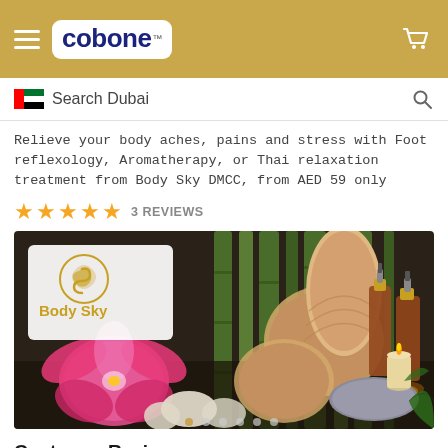cobone™ — header navigation bar with hamburger menu and cart icon
Search Dubai
Relieve your body aches, pains and stress with Foot reflexology, Aromatherapy, or Thai relaxation treatment from Body Sky DMCC, from AED 59 only
★★★★★ 3 REVIEWS
[Figure (photo): Spa and massage product photo showing aromatherapy oils in amber dropper bottles, Thai herbal compress balls, pink orchid flower, bamboo stalks in background, candle on stone, with Body Sky logo overlay in top left corner]
Customer Reviews